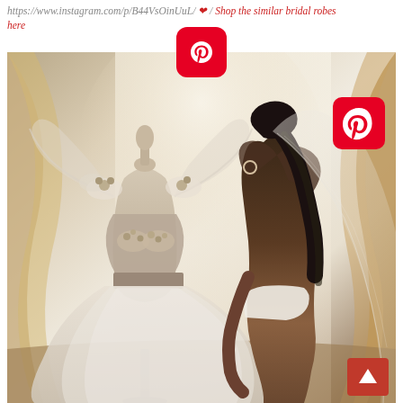https://www.instagram.com/p/B44VsOinUuL/ ❤ / Shop the similar bridal robes here
[Figure (photo): A bridal scene showing an ornate wedding dress on a mannequin on the left, featuring a tulle skirt, embellished bustier with floral/beaded details, and dramatic sheer sleeves. On the right, a woman with long dark hair in a ponytail wearing a wedding veil stands with her back to camera, bending slightly forward. The scene is backlit by a window with curtains. Two Pinterest buttons are overlaid on the image (top center and top right). A scroll-to-top button is at the bottom right.]